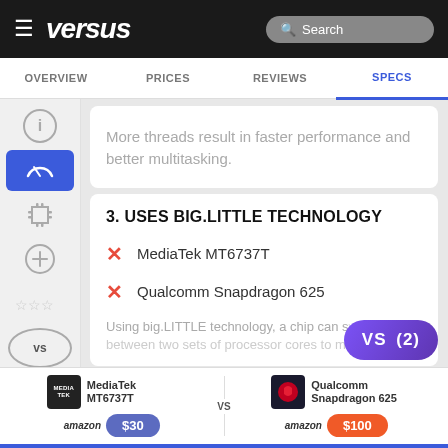versus | Search | OVERVIEW | PRICES | REVIEWS | SPECS
More threads result in faster performance and better multitasking.
3. USES BIG.LITTLE TECHNOLOGY
✗ MediaTek MT6737T
✗ Qualcomm Snapdragon 625
Using big.LITTLE technology, a chip can switch between two sets of processor cores to m...
[Figure (screenshot): VS (2) badge button overlay]
MediaTek MT6737T VS Qualcomm Snapdragon 625 | amazon $30 | amazon $100